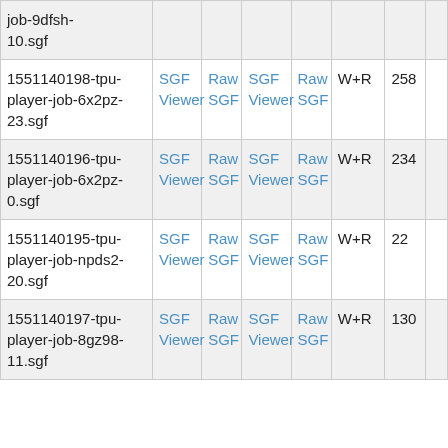| Filename | Col2 | Col3 | Col4 | Col5 | Result | Score | Col8 |
| --- | --- | --- | --- | --- | --- | --- | --- |
| job-9dfsh-10.sgf |  |  |  |  |  |  |  |
| 1551140198-tpu-player-job-6x2pz-23.sgf | SGF Viewer | Raw SGF | SGF Viewer | Raw SGF | W+R | 258 |  |
| 1551140196-tpu-player-job-6x2pz-0.sgf | SGF Viewer | Raw SGF | SGF Viewer | Raw SGF | W+R | 234 |  |
| 1551140195-tpu-player-job-npds2-20.sgf | SGF Viewer | Raw SGF | SGF Viewer | Raw SGF | W+R | 22 |  |
| 1551140197-tpu-player-job-8gz98-11.sgf | SGF Viewer | Raw SGF | SGF Viewer | Raw SGF | W+R | 130 |  |